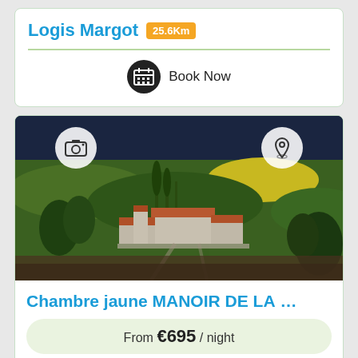Logis Margot 25.6Km
Book Now
[Figure (photo): Aerial drone photograph of a French manor/chateau with red-tiled roofs surrounded by green fields, trees, and meadows under a blue sky.]
Chambre jaune MANOIR DE L…
From €695 / night
Book Now